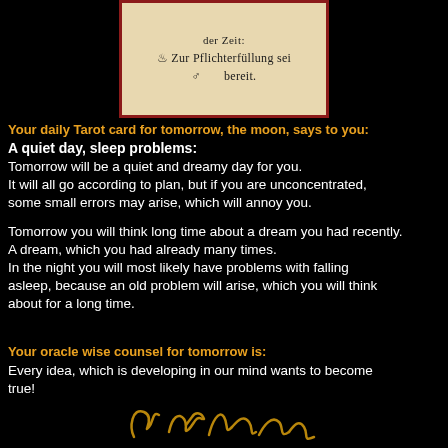[Figure (illustration): Tarot card with parchment background and dark red border, showing Gothic German text: 'der Zeit: Zur Pflichterfüllung sei bereit.' with astrological symbols]
Your daily Tarot card for tomorrow, the moon, says to you:
A quiet day, sleep problems:
Tomorrow will be a quiet and dreamy day for you.
It will all go according to plan, but if you are unconcentrated, some small errors may arise, which will annoy you.

Tomorrow you will think long time about a dream you had recently.
A dream, which you had already many times.
In the night you will most likely have problems with falling asleep, because an old problem will arise, which you will think about for a long time.
Your oracle wise counsel for tomorrow is:
Every idea, which is developing in our mind wants to become true!
[Figure (illustration): Decorative golden signature or sigil at the bottom of the page]